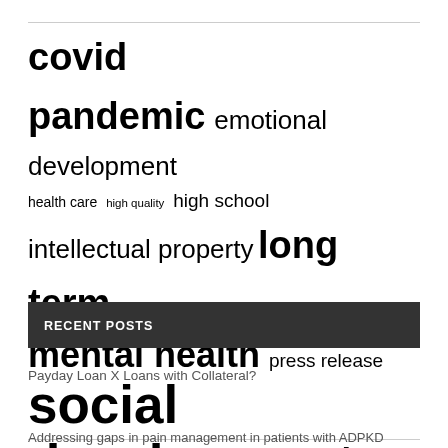social development
covid pandemic  emotional development  health care  high quality  high school  intellectual property  long term  mental health  press release  social development  social emotional  united states  vice president  wide range  young people
RECENT POSTS
Payday Loan X Loans with Collateral?
Addressing gaps in pain management in patients with ADPKD